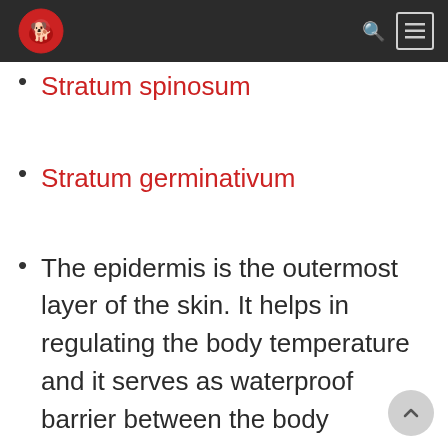[Logo and navigation bar]
Stratum spinosum
Stratum germinativum
The epidermis is the outermost layer of the skin. It helps in regulating the body temperature and it serves as waterproof barrier between the body